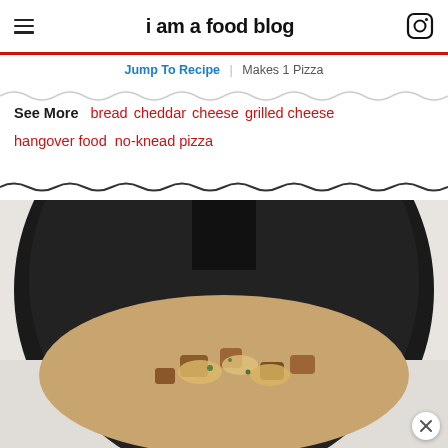i am a food blog
Jump To Recipe  |  Makes 1 Pizza
See More  bread  cheddar  cheese  grilled cheese  hangover food  no-knead pizza
[Figure (photo): Close-up photo of a pizza in a dark/black pan, with melted cheese and toppings, shot from above on a light background]